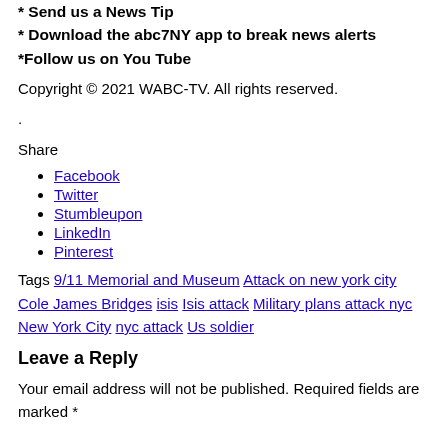* Send us a News Tip
* Download the abc7NY app to break news alerts
*Follow us on You Tube
Copyright © 2021 WABC-TV. All rights reserved.
.
Share
Facebook
Twitter
Stumbleupon
LinkedIn
Pinterest
Tags 9/11 Memorial and Museum Attack on new york city Cole James Bridges isis Isis attack Military plans attack nyc New York City nyc attack Us soldier
Leave a Reply
Your email address will not be published. Required fields are marked *